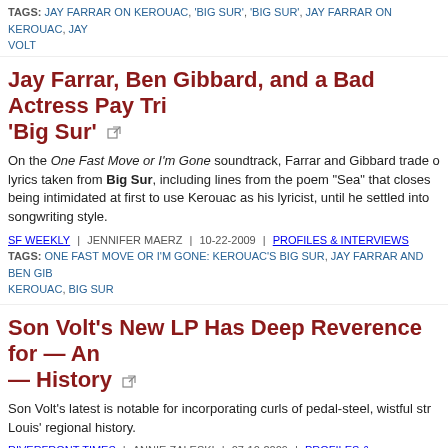TAGS: JAY FARRAR ON KEROUAC, 'BIG SUR', 'BIG SUR', JAY FARRAR ON KEROUAC, JAY VOLT
Jay Farrar, Ben Gibbard, and a Bad Actress Pay Tri 'Big Sur'
On the One Fast Move or I'm Gone soundtrack, Farrar and Gibbard trade o lyrics taken from Big Sur, including lines from the poem "Sea" that closes being intimidated at first to use Kerouac as his lyricist, until he settled into songwriting style.
SF WEEKLY | JENNIFER MAERZ | 10-22-2009 | PROFILES & INTERVIEWS
TAGS: ONE FAST MOVE OR I'M GONE: KEROUAC'S BIG SUR, JAY FARRAR AND BEN GIB KEROUAC, BIG SUR
Son Volt's New LP Has Deep Reverence for — An — History
Son Volt's latest is notable for incorporating curls of pedal-steel, wistful str Louis' regional history.
RIVERFRONT TIMES | ANNIE ZALESKI | 07-10-2009 | PROFILES & INTERVIEWS
TAGS: AMERICAN CENTRAL DUST, ROCK, JAY FARRAR, SON VOLT
Son Volt's Brand-New Album Gets Back to the Bas
With American Central Dust, Farrar, a familiar original it